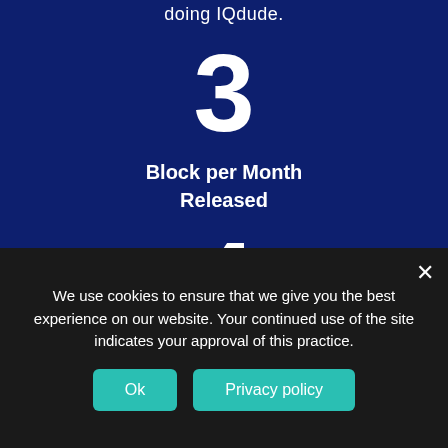doing IQdude.
3
Block per Month Released
4
Day Average Block
We use cookies to ensure that we give you the best experience on our website. Your continued use of the site indicates your approval of this practice.
Ok
Privacy policy